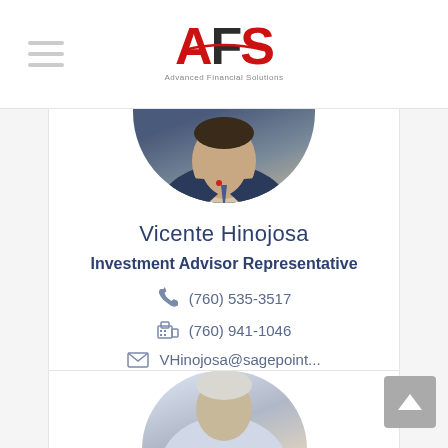[Figure (logo): AFS Advanced Financial Solutions logo - red and black stylized letters AFS with tagline]
[Figure (photo): Circular portrait photo of Vicente Hinojosa in a dark suit with tie]
Vicente Hinojosa
Investment Advisor Representative
(760) 535-3517
(760) 941-1046
VHinojosa@sagepoint...
[Figure (photo): Partial circular portrait photo of a second person, partially visible at bottom of page]